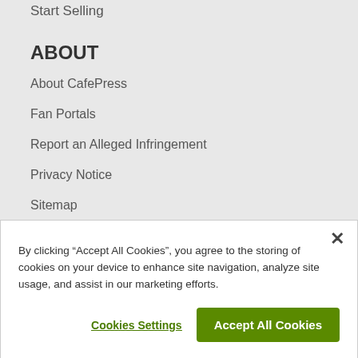Start Selling
ABOUT
About CafePress
Fan Portals
Report an Alleged Infringement
Privacy Notice
Sitemap
Terms of Use
By clicking “Accept All Cookies”, you agree to the storing of cookies on your device to enhance site navigation, analyze site usage, and assist in our marketing efforts.
Cookies Settings
Accept All Cookies